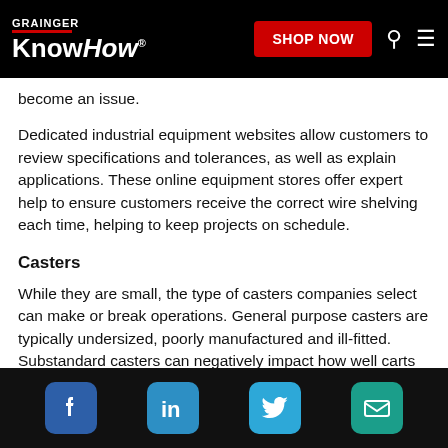GRAINGER KnowHow® SHOP NOW
become an issue.
Dedicated industrial equipment websites allow customers to review specifications and tolerances, as well as explain applications. These online equipment stores offer expert help to ensure customers receive the correct wire shelving each time, helping to keep projects on schedule.
Casters
While they are small, the type of casters companies select can make or break operations. General purpose casters are typically undersized, poorly manufactured and ill-fitted. Substandard casters can negatively impact how well carts roll and how much additional effort is required to move them.
Social media icons: Facebook, LinkedIn, Twitter, Email